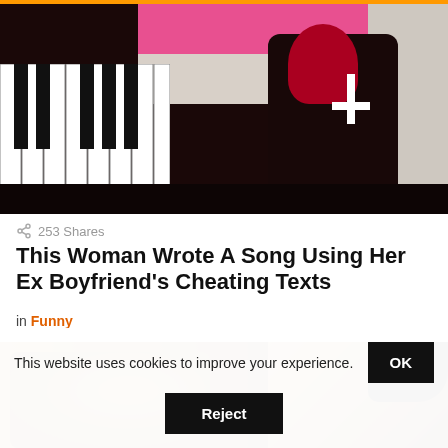[Figure (photo): Woman with red hair in dark clothing with inverted cross, sitting near a piano keyboard with pink bedding in background]
253 Shares
This Woman Wrote A Song Using Her Ex Boyfriend's Cheating Texts
in Funny
[Figure (photo): Woman's face partially visible, lying near wooden headboard]
This website uses cookies to improve your experience. OK Reject